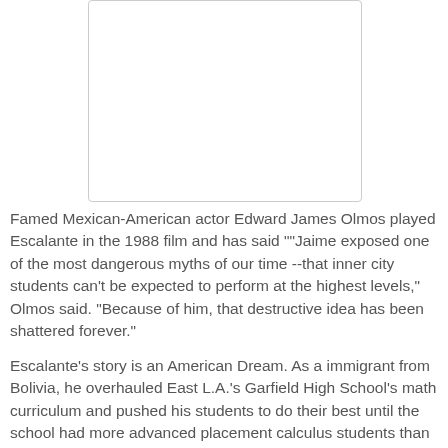[Figure (photo): A photograph placeholder (white box with border) presumably showing Edward James Olmos or Jaime Escalante]
Famed Mexican-American actor Edward James Olmos played Escalante in the 1988 film and has said ""Jaime exposed one of the most dangerous myths of our time --that inner city students can't be expected to perform at the highest levels," Olmos said. "Because of him, that destructive idea has been shattered forever."
Escalante's story is an American Dream. As a immigrant from Bolivia, he overhauled East L.A.'s Garfield High School's math curriculum and pushed his students to do their best until the school had more advanced placement calculus students than all but four other public high schools in the